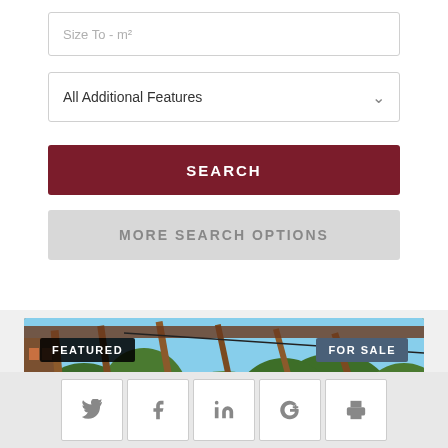[Figure (screenshot): Input field with placeholder text 'Size To - m²']
[Figure (screenshot): Dropdown selector labeled 'All Additional Features' with chevron]
[Figure (screenshot): Dark red SEARCH button]
[Figure (screenshot): Light gray MORE SEARCH OPTIONS button]
[Figure (photo): Featured property photo showing wooden pergola structure with trees and blue sky, with 'FEATURED' badge on left and 'FOR SALE' badge on right]
[Figure (screenshot): Social sharing bar with Twitter, Facebook, LinkedIn, Google+, and print icons]